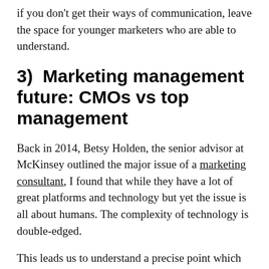if you don't get their ways of communication, leave the space for younger marketers who are able to understand.
3)  Marketing management future: CMOs vs top management
Back in 2014, Betsy Holden, the senior advisor at McKinsey outlined the major issue of a marketing consultant, I found that while they have a lot of great platforms and technology but yet the issue is all about humans. The complexity of technology is double-edged.
This leads us to understand a precise point which is, marketing technology is the trend and it is going to impact how we conduct marketing, but it is at the